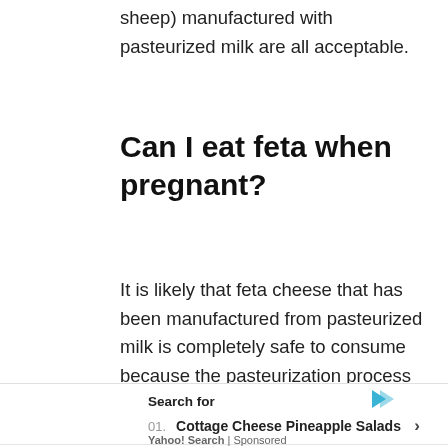sheep) manufactured with pasteurized milk are all acceptable.
Can I eat feta when pregnant?
It is likely that feta cheese that has been manufactured from pasteurized milk is completely safe to consume because the pasteurization process eliminates any potentially hazardous germs. feta cheese
Search for
01. Cottage Cheese Pineapple Salads
02. Best Cottage Cheese
Yahoo! Search | Sponsored